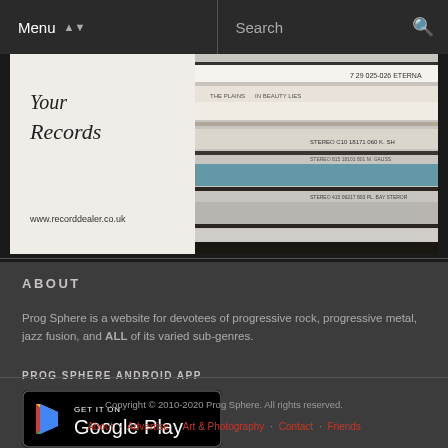Menu  Search
[Figure (photo): Banner image showing stacked vinyl records with text 'Your Records' and 'www.recorddealer.co.uk']
ABOUT
Prog Sphere is a website for devotees of progressive rock, progressive metal, jazz fusion, and ALL of its varied sub-genres.
PROG SPHERE ANDROID APP
[Figure (logo): Google Play Store badge with text GET IT ON Google Play]
Copyright © 2010-2020 Prog Sphere. All rights reserved.
About · Advertise · Art & Photography · Contact · Friends